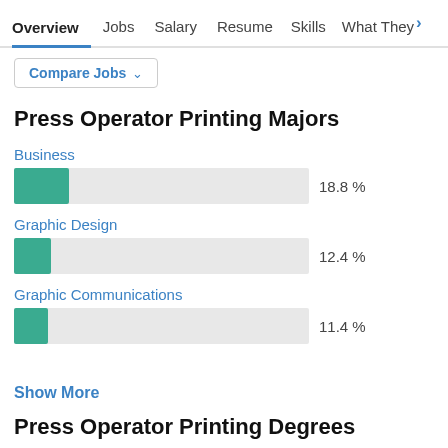Overview  Jobs  Salary  Resume  Skills  What They >
Compare Jobs ∨
Press Operator Printing Majors
[Figure (bar-chart): Press Operator Printing Majors]
Show More
Press Operator Printing Degrees